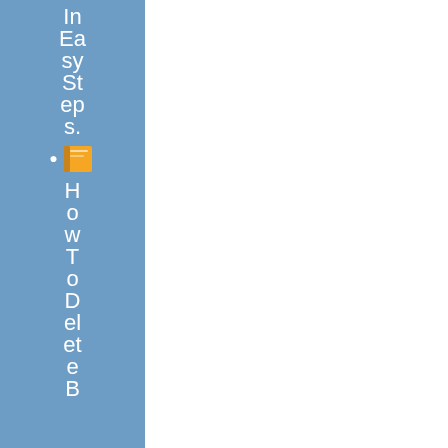[Figure (illustration): Blue sidebar on left side of page with vertical white text reading 'In Easy Steps.' followed by a small book icon with bullet point, then continuing text 'How To Delete B'. The right portion of the page is white/blank.]
How To Delete B